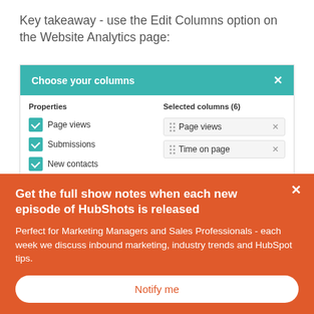Key takeaway - use the Edit Columns option on the Website Analytics page:
[Figure (screenshot): HubSpot 'Choose your columns' modal dialog showing a teal/green header with title 'Choose your columns' and an X close button. Below are two columns: 'Properties' on the left with checkboxes for Page views (checked), Submissions (checked), New contacts (checked), and Customers (unchecked); and 'Selected columns (6)' on the right showing 'Page views' and 'Time on page' as removable items with drag handles and X buttons, and a partially visible third item.]
Get the full show notes when each new episode of HubShots is released
Perfect for Marketing Managers and Sales Professionals - each week we discuss inbound marketing, industry trends and HubSpot tips.
Notify me